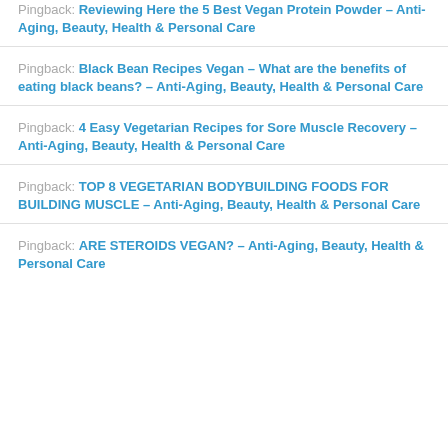Pingback: Reviewing Here the 5 Best Vegan Protein Powder – Anti-Aging, Beauty, Health & Personal Care
Pingback: Black Bean Recipes Vegan – What are the benefits of eating black beans? – Anti-Aging, Beauty, Health & Personal Care
Pingback: 4 Easy Vegetarian Recipes for Sore Muscle Recovery – Anti-Aging, Beauty, Health & Personal Care
Pingback: TOP 8 VEGETARIAN BODYBUILDING FOODS FOR BUILDING MUSCLE – Anti-Aging, Beauty, Health & Personal Care
Pingback: ARE STEROIDS VEGAN? – Anti-Aging, Beauty, Health & Personal Care